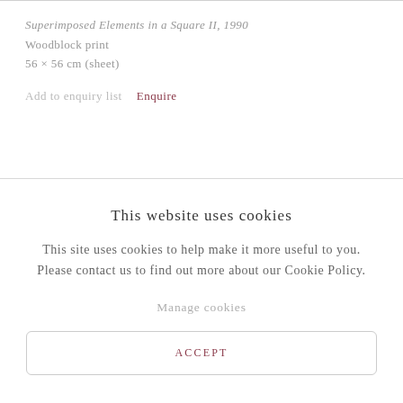Superimposed Elements in a Square II, 1990
Woodblock print
56 × 56 cm (sheet)
Add to enquiry list   Enquire
This website uses cookies
This site uses cookies to help make it more useful to you. Please contact us to find out more about our Cookie Policy.
Manage cookies
ACCEPT